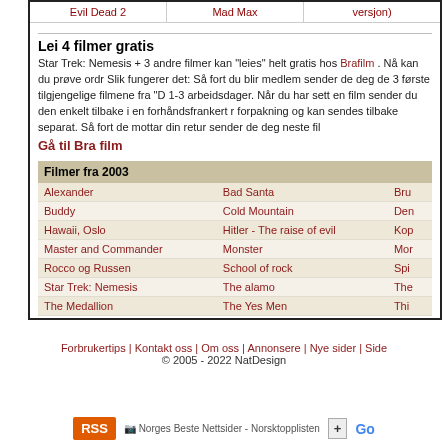| Evil Dead 2 | Mad Max | (versjon) |
| --- | --- | --- |
Lei 4 filmer gratis
Star Trek: Nemesis + 3 andre filmer kan "leies" helt gratis hos Brafilm . Nå kan du prøve ordr Slik fungerer det: Så fort du blir medlem sender de deg de 3 første tilgjengelige filmene fra "D 1-3 arbeidsdager. Når du har sett en film sender du den enkelt tilbake i en forhåndsfrankert r forpakning og kan sendes tilbake separat. Så fort de mottar din retur sender de deg neste fil
Gå til Bra film
| Filmer fra 2003 |  |  |
| --- | --- | --- |
| Alexander | Bad Santa | Bru |
| Buddy | Cold Mountain | Den |
| Hawaii, Oslo | Hitler - The raise of evil | Kop |
| Master and Commander | Monster | Mor |
| Rocco og Russen | School of rock | Spi |
| Star Trek: Nemesis | The alamo | The |
| The Medallion | The Yes Men | Thi |
Forbrukertips | Kontakt oss | Om oss | Annonsere | Nye sider | Side © 2005 - 2022 NatDesign